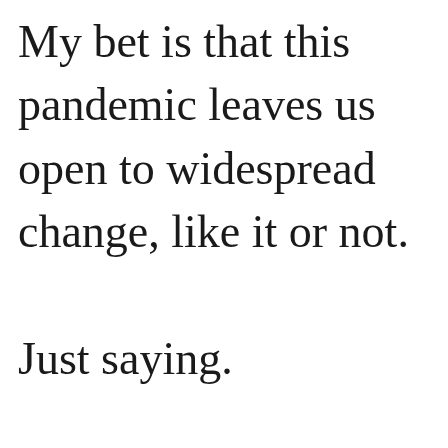My bet is that this pandemic leaves us open to widespread change, like it or not.

Just saying.